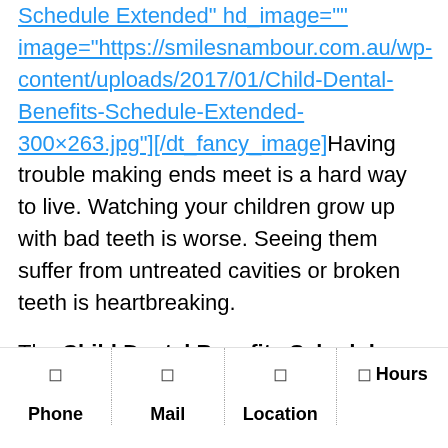Schedule Extended" hd_image="" image="https://smilesnambour.com.au/wp-content/uploads/2017/01/Child-Dental-Benefits-Schedule-Extended-300×263.jpg"][/dt_fancy_image]Having trouble making ends meet is a hard way to live. Watching your children grow up with bad teeth is worse. Seeing them suffer from untreated cavities or broken teeth is heartbreaking.

The Child Dental Benefits Schedule (CDBS) provides basic dental care for children of low-income families. Since
Phone | Mail | Location | Hours